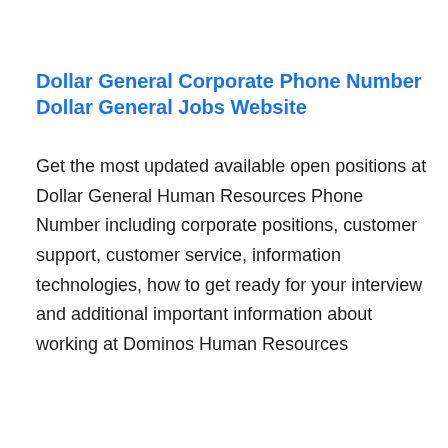Dollar General Corporate Phone Number
Dollar General Jobs Website
Get the most updated available open positions at Dollar General Human Resources Phone Number including corporate positions, customer support, customer service, information technologies, how to get ready for your interview and additional important information about working at Dominos Human Resources